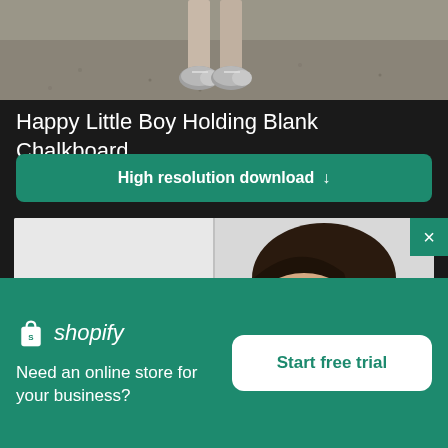[Figure (photo): Cropped photo showing the lower legs and feet (wearing sneakers) of a person standing on a gravel/dirt surface]
Happy Little Boy Holding Blank Chalkboard
High resolution download ↓
[Figure (photo): Photo of a girl with dark hair looking downward, light grey background]
[Figure (logo): Shopify logo with shopping bag icon and italic shopify text]
Need an online store for your business?
Start free trial